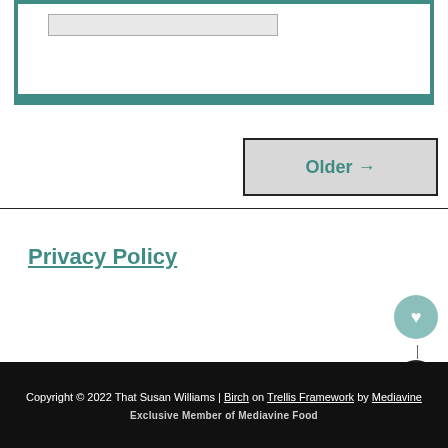[Figure (screenshot): Top portion showing a teal-bordered UI box with a gray input field mock inside a white inner box]
Older →
Privacy Policy
Copyright © 2022 That Susan Williams | Birch on Trellis Framework by Mediavine
Exclusive Member of Mediavine Food